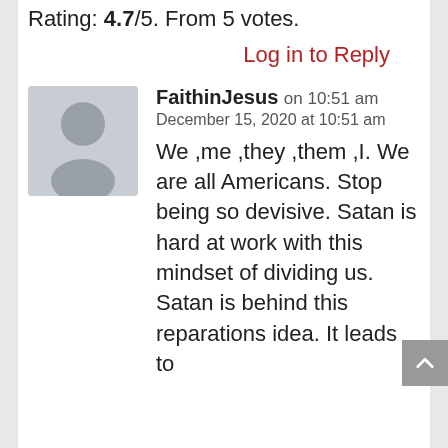Rating: 4.7/5. From 5 votes.
Log in to Reply
[Figure (illustration): Default user avatar placeholder — grey circle head and shoulders silhouette on grey square background]
FaithinJesus on 10:51 am
December 15, 2020 at 10:51 am
We ,me ,they ,them ,I. We are all Americans. Stop being so devisive. Satan is hard at work with this mindset of dividing us. Satan is behind this reparations idea. It leads to